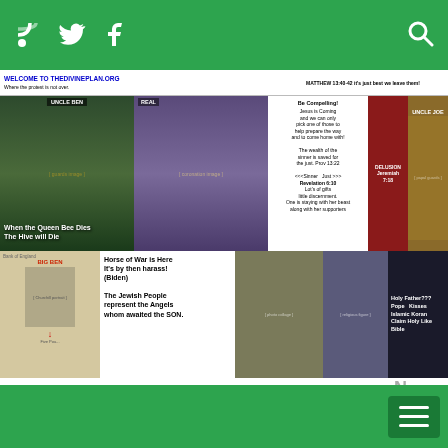Top navigation bar with RSS, Twitter, Facebook icons and search icon
[Figure (screenshot): Website header collage for thedivineplan.org showing multiple religious/political photo panels with text overlays including: 'WELCOME TO THEDIVINEPLAN.ORG Where the protest is not over.', 'UNCLE BEN', 'When the Queen Bee Dies The Hive will Die', 'REAL', 'Be Compelling! Jesus is Coming and we can only pick one of those to help prepare the way and to come home with! The wealth of the sinner is saved for the just. Prov 13:22 <<<Sinner Just>>> Revelation 6:10 Lot's of gifts little discernment. One is staying with her beast along with her supporters', 'MATTHEW 13:40-42 it's just best we leave them!', 'DELUSION Jeremiah 7:18', 'UNCLE JOE', 'Horse of War is Here It's by then harass! (Biden) The Jewish People represent the Angels whom awaited the SON.', 'Holy Father??? Pope Kisses Islamic Koran Claim Holy Like Bible']
[Figure (screenshot): Second green navigation bar with hamburger menu icon on right side]
Follow the plan of the POD Where Will You Get Your Kids Toys Next Year? Ho, Ho, Ho.
Sam Walton Made the Appointed Times List?
Guy Fawkes Made the Appointed Times
DEC